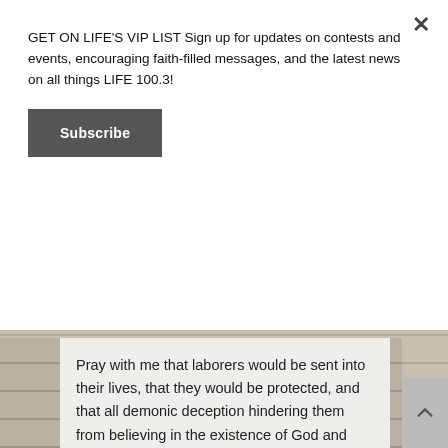GET ON LIFE'S VIP LIST Sign up for updates on contests and events, encouraging faith-filled messages, and the latest news on all things LIFE 100.3!
Subscribe
Pray with me that laborers would be sent into their lives, that they would be protected, and that all demonic deception hindering them from believing in the existence of God and receiving the Gospel would be bound and rendered powerless over these people in Jesus' name.
-Ethan G.
-Hunter G.
-Marc P.